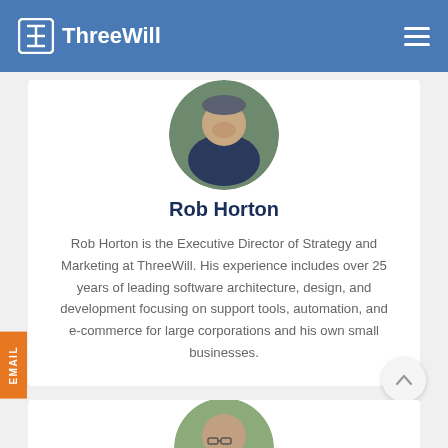ThreeWill
[Figure (photo): Circular profile photo of Rob Horton, a man in a dark shirt, smiling outdoors]
Rob Horton
Rob Horton is the Executive Director of Strategy and Marketing at ThreeWill. His experience includes over 25 years of leading software architecture, design, and development focusing on support tools, automation, and e-commerce for large corporations and his own small businesses.
[Figure (photo): Partial circular profile photo of a second person at the bottom of the page, a bald man with glasses outdoors]